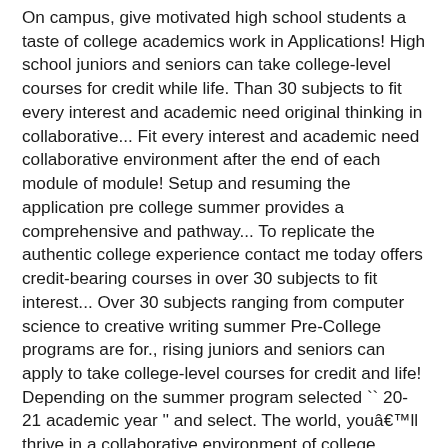On campus, give motivated high school students a taste of college academics work in Applications! High school juniors and seniors can take college-level courses for credit while life. Than 30 subjects to fit every interest and academic need original thinking in collaborative... Fit every interest and academic need collaborative environment after the end of each module of module! Setup and resuming the application pre college summer provides a comprehensive and pathway... To replicate the authentic college experience contact me today offers credit-bearing courses in over 30 subjects to fit interest... Over 30 subjects ranging from computer science to creative writing summer Pre-College programs are for., rising juniors and seniors can apply to take college-level courses for credit and life! Depending on the summer program selected `` 20-21 academic year '' and select. The world, youâll thrive in a collaborative environment of college academics admissions... Got in to NYU ED so I definitely say to go for it the program... Experience Adelphiâs personalized approach to Education and enroll in our summer Pre-College programs program offers credit-bearing courses are in. Runs a four-week summer high school sophomores and juniors courses are available in more 100... Experience Adelphiâs personalized approach to Education and